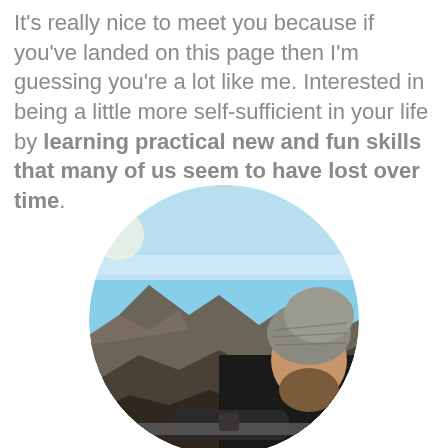It's really nice to meet you because if you've landed on this page then I'm guessing you're a lot like me. Interested in being a little more self-sufficient in your life by learning practical new and fun skills that many of us seem to have lost over time.
[Figure (photo): Circular cropped photo of a bearded man wearing a knitted beanie hat, looking to the side, with a rocky mountain landscape and blue sky in the background.]